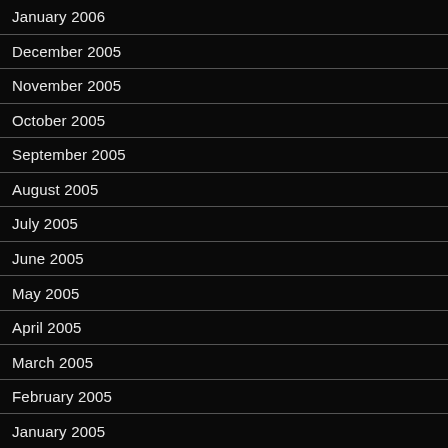January 2006
December 2005
November 2005
October 2005
September 2005
August 2005
July 2005
June 2005
May 2005
April 2005
March 2005
February 2005
January 2005